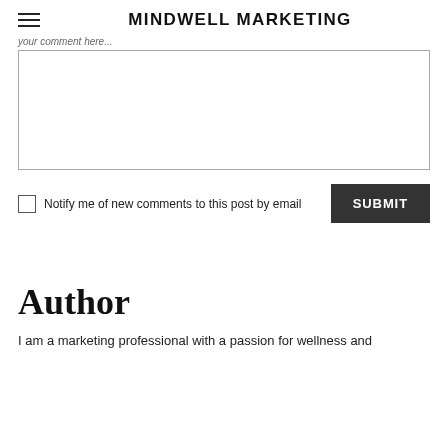MINDWELL MARKETING
Notify me of new comments to this post by email
SUBMIT
Author
I am a marketing professional with a passion for wellness and